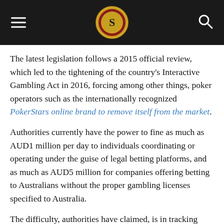[Navigation header with hamburger menu, logo, and search icon]
The latest legislation follows a 2015 official review, which led to the tightening of the country's Interactive Gambling Act in 2016, forcing among other things, poker operators such as the internationally recognized PokerStars online brand to remove itself from the market.
Authorities currently have the power to fine as much as AUD1 million per day to individuals coordinating or operating under the guise of legal betting platforms, and as much as AUD5 million for companies offering betting to Australians without the proper gambling licenses specified to Australia.
The difficulty, authorities have claimed, is in tracking down the illegal enterprises, particularly in Asia, where legal red tape and the boundaries of their jurisdictions are not easily enforced. Imposing penalties looks good on paper, but bringing perpetrators to justice and